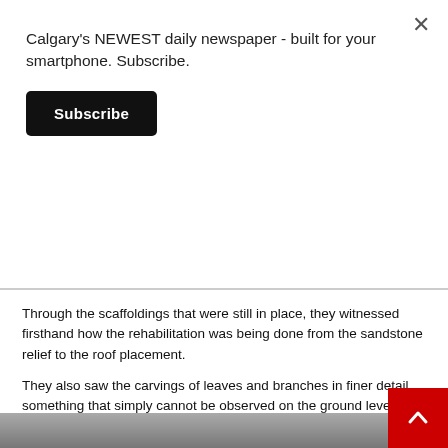Calgary's NEWEST daily newspaper - built for your smartphone. Subscribe.
Subscribe
Through the scaffoldings that were still in place, they witnessed firsthand how the rehabilitation was being done from the sandstone relief to the roof placement.
They also saw the carvings of leaves and branches in finer detail, something that simply cannot be observed on the ground level.
During the job, Clayton saw approximately 20 different signatures scattered in the room. It was from individuals who did various maintenance in the clock tower over the yea
[Figure (photo): Partial image strip at the bottom of the page showing an architectural or stone detail photo]